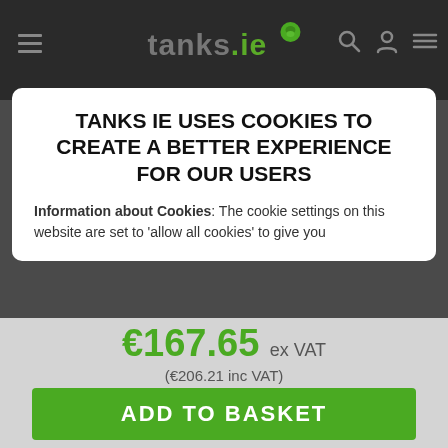tanks.ie
The TMT 2 Electrosafe Flow Meter is a precise, robust...
TANKS IE USES COOKIES TO CREATE A BETTER EXPERIENCE FOR OUR USERS
Information about Cookies: The cookie settings on this website are set to 'allow all cookies' to give you
€167.65 ex VAT (€206.21 inc VAT) (Available)
ADD TO BASKET
ENQUIRE
REVIEW
PRICE MATCH